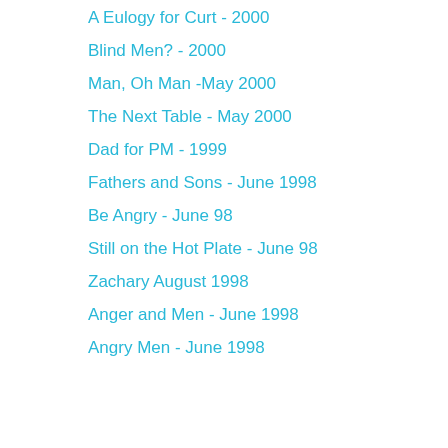A Eulogy for Curt - 2000
Blind Men? - 2000
Man, Oh Man -May 2000
The Next Table - May 2000
Dad for PM - 1999
Fathers and Sons - June 1998
Be Angry - June 98
Still on the Hot Plate - June 98
Zachary August 1998
Anger and Men - June 1998
Angry Men - June 1998